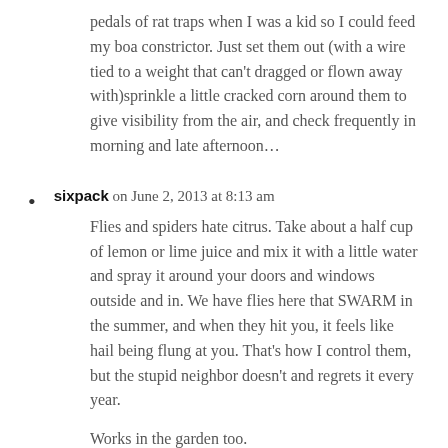pedals of rat traps when I was a kid so I could feed my boa constrictor. Just set them out (with a wire tied to a weight that can't dragged or flown away with)sprinkle a little cracked corn around them to give visibility from the air, and check frequently in morning and late afternoon…
sixpack on June 2, 2013 at 8:13 am

Flies and spiders hate citrus. Take about a half cup of lemon or lime juice and mix it with a little water and spray it around your doors and windows outside and in. We have flies here that SWARM in the summer, and when they hit you, it feels like hail being flung at you. That's how I control them, but the stupid neighbor doesn't and regrets it every year.

Works in the garden too.